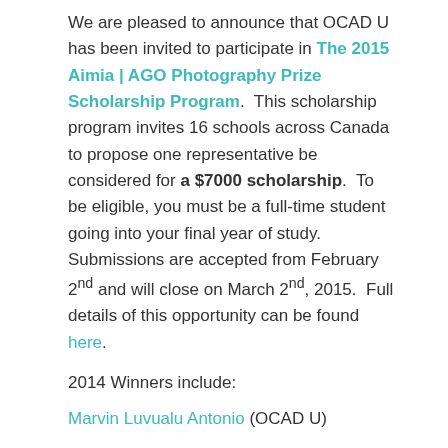We are pleased to announce that OCAD U has been invited to participate in The 2015 Aimia | AGO Photography Prize Scholarship Program. This scholarship program invites 16 schools across Canada to propose one representative be considered for a $7000 scholarship. To be eligible, you must be a full-time student going into your final year of study. Submissions are accepted from February 2nd and will close on March 2nd, 2015. Full details of this opportunity can be found here.
2014 Winners include:
Marvin Luvualu Antonio (OCAD U)
Kristiane Church (University of Manitoba)
Paige Lindsay ( Ryerson University)